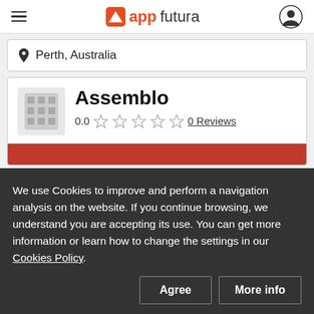appfutura
Perth, Australia
Assemblo
0.0  0 Reviews
We use Cookies to improve and perform a navigation analysis on the website. If you continue browsing, we understand you are accepting its use. You can get more information or learn how to change the settings in our Cookies Policy.
Agree
More info